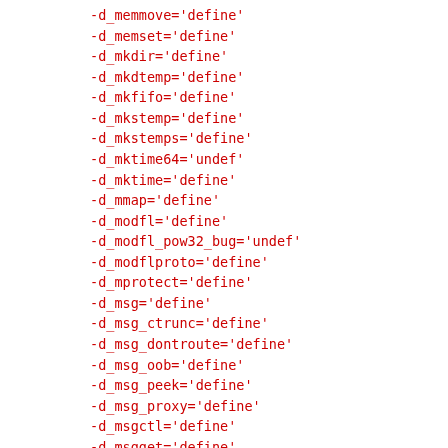-d_memmove='define'
-d_memset='define'
-d_mkdir='define'
-d_mkdtemp='define'
-d_mkfifo='define'
-d_mkstemp='define'
-d_mkstemps='define'
-d_mktime64='undef'
-d_mktime='define'
-d_mmap='define'
-d_modfl='define'
-d_modfl_pow32_bug='undef'
-d_modflproto='define'
-d_mprotect='define'
-d_msg='define'
-d_msg_ctrunc='define'
-d_msg_dontroute='define'
-d_msg_oob='define'
-d_msg_peek='define'
-d_msg_proxy='define'
-d_msgctl='define'
-d_msgget='define'
-d_msghdr_s='define'
-d_msgrcv='define'
-d_msgsnd='define'
-d_msync='define'
-d_munmap='define'
-d_mymalloc='undef'
-d_ndbm='undef'
-d_ndbm_h_uses_prototypes='undef'